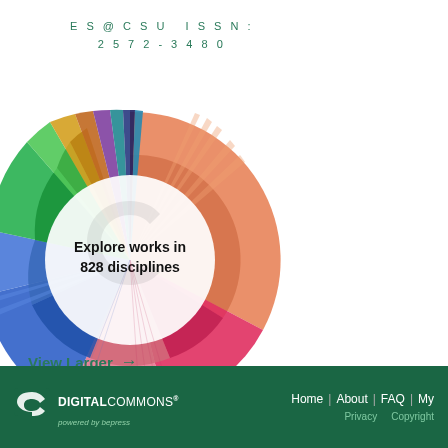ES@CSU ISSN:
2572-3480
[Figure (donut-chart): Interactive donut/sunburst chart showing works across 828 disciplines. Center text reads 'Explore works in 828 disciplines'. The chart has multiple colored segments including orange, red/pink, blue, green, teal, purple, yellow, and other colors arranged in a sunburst pattern with inner and outer rings.]
View Larger →
DIGITAL COMMONS® powered by bepress | Home | About | FAQ | My | Privacy | Copyright